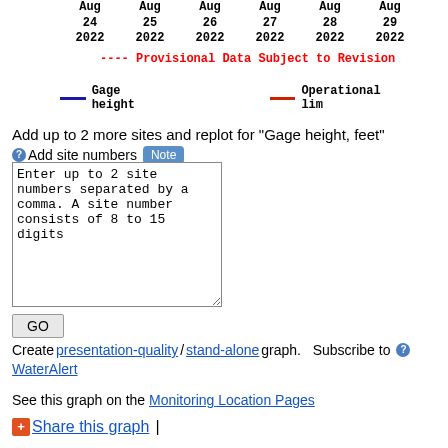[Figure (other): Date axis header showing Aug 24-29 2022 column labels for a water gauge chart]
---- Provisional Data Subject to Revision
— Gage height    — Operational lim
Add up to 2 more sites and replot for "Gage height, feet"
? Add site numbers Note
Enter up to 2 site numbers separated by a comma. A site number consists of 8 to 15 digits
GO
Create presentation-quality / stand-alone graph.   Subscribe to ? WaterAlert
See this graph on the Monitoring Location Pages
+ Share this graph  |